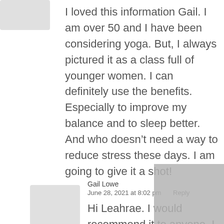I loved this information Gail. I am over 50 and I have been considering yoga. But, I always pictured it as a class full of younger women. I can definitely use the benefits. Especially to improve my balance and to sleep better. And who doesn't need a way to reduce stress these days. I am going to give it a shot!
Gail Lowe
June 28, 2021 at 8:02 pm   Reply
Hi Leahrae. I would recommend it to anyone. I love it because of the spiritual element and the calming of